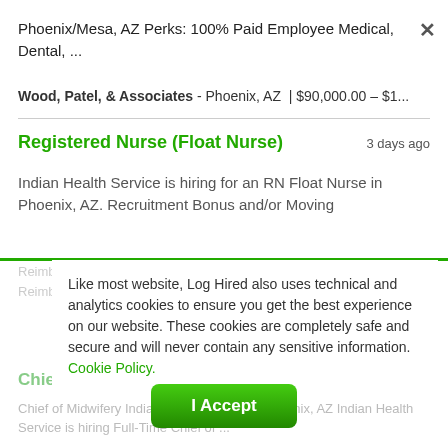Phoenix/Mesa, AZ Perks: 100% Paid Employee Medical, Dental, ...
Wood, Patel, & Associates - Phoenix, AZ  | $90,000.00 – $1...
Registered Nurse (Float Nurse)
3 days ago
Indian Health Service is hiring for an RN Float Nurse in Phoenix, AZ. Recruitment Bonus and/or Moving
Reimbursement may be authorized in addition to salary. If Ed... Reimb... Indian Health Service - Phoenix, AZ | $49.00 - $121.2...
Like most website, Log Hired also uses technical and analytics cookies to ensure you get the best experience on our website. These cookies are completely safe and secure and will never contain any sensitive information. Cookie Policy.
Chief of Midwifery
3 days ago
Chief of Midwifery Indian Health Service - Phoenix, AZ Indian Health Service is hiring Full-Time Chief of ...